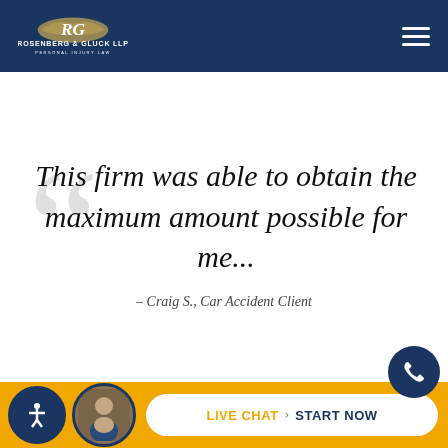Rosenberg & Gluck LLP — Personal Injury Law
“This firm was able to obtain the maximum amount possible for me...”
– Craig S., Car Accident Client
LIVE CHAT › START NOW